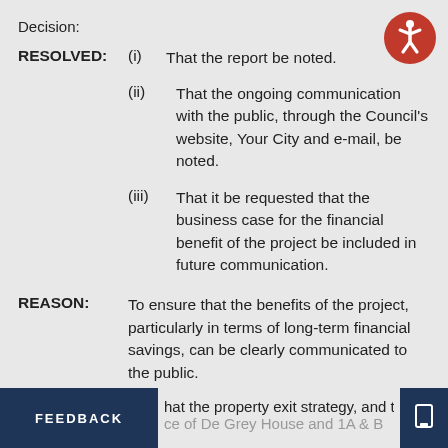Decision:
RESOLVED: (i)   That the report be noted.
(ii)   That the ongoing communication with the public, through the Council's website, Your City and e-mail, be noted.
(iii)   That it be requested that the business case for the financial benefit of the project be included in future communication.
REASON:   To ensure that the benefits of the project, particularly in terms of long-term financial savings, can be clearly communicated to the public.
FEEDBACK   hat the property exit strategy, and the   [icon]   of De Grey House and 1A & B